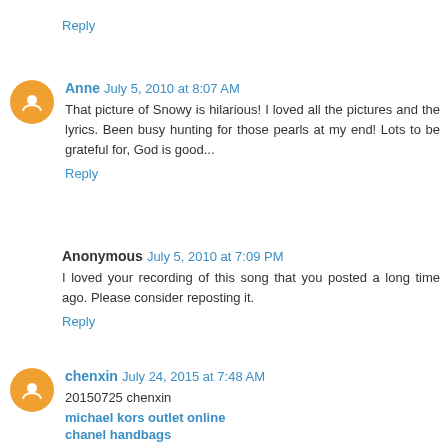Reply
Anne  July 5, 2010 at 8:07 AM
That picture of Snowy is hilarious! I loved all the pictures and the lyrics. Been busy hunting for those pearls at my end! Lots to be grateful for, God is good...
Reply
Anonymous  July 5, 2010 at 7:09 PM
I loved your recording of this song that you posted a long time ago. Please consider reposting it.
Reply
chenxin  July 24, 2015 at 7:48 AM
20150725 chenxin
michael kors outlet online
chanel handbags